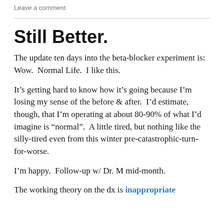Leave a comment
Still Better.
The update ten days into the beta-blocker experiment is: Wow.  Normal Life.  I like this.
It’s getting hard to know how it’s going because I’m losing my sense of the before & after.  I’d estimate, though, that I’m operating at about 80-90% of what I’d imagine is “normal”.  A little tired, but nothing like the silly-tired even from this winter pre-catastrophic-turn-for-worse.
I’m happy.  Follow-up w/ Dr. M mid-month.
The working theory on the dx is inappropriate